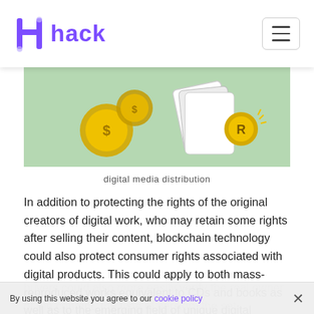hack
[Figure (illustration): Green background illustration showing coins and a document/award badge with the letter R, representing digital media distribution]
digital media distribution
In addition to protecting the rights of the original creators of digital work, who may retain some rights after selling their content, blockchain technology could also protect consumer rights associated with digital products. This could apply to both mass-reproduced works equivalent to CDs and books as well as to the emerging field of unique digital artworks, which can be considered the digital equivalent of paintings. Consumers or buyers could also more easily verify the real owner of the content, the type of version, the set
By using this website you agree to our cookie policy